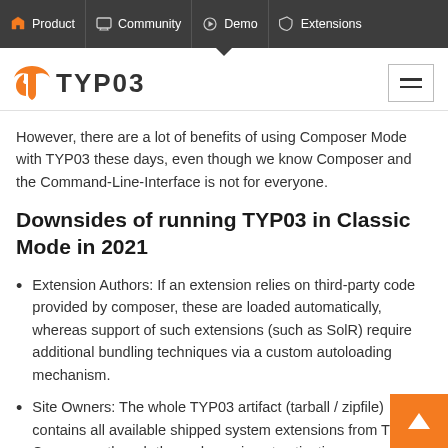Product | Community | Demo | Extensions
[Figure (logo): TYPO3 logo with orange icon and text, plus hamburger menu icon]
However, there are a lot of benefits of using Composer Mode with TYPO3 these days, even though we know Composer and the Command-Line-Interface is not for everyone.
Downsides of running TYPO3 in Classic Mode in 2021
Extension Authors: If an extension relies on third-party code provided by composer, these are loaded automatically, whereas support of such extensions (such as SolR) require additional bundling techniques via a custom autoloading mechanism.
Site Owners: The whole TYPO3 artifact (tarball / zipfile) contains all available shipped system extensions from TYPO3 Core, even though the end-user is not activating